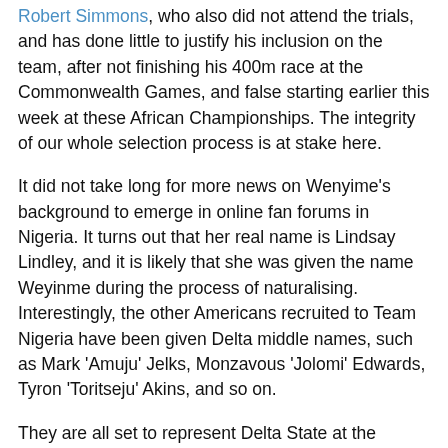Robert Simmons, who also did not attend the trials, and has done little to justify his inclusion on the team, after not finishing his 400m race at the Commonwealth Games, and false starting earlier this week at these African Championships. The integrity of our whole selection process is at stake here.
It did not take long for more news on Wenyime's background to emerge in online fan forums in Nigeria. It turns out that her real name is Lindsay Lindley, and it is likely that she was given the name Weyinme during the process of naturalising. Interestingly, the other Americans recruited to Team Nigeria have been given Delta middle names, such as Mark 'Amuju' Jelks, Monzavous 'Jolomi' Edwards, Tyron 'Toritseju' Akins, and so on.
They are all set to represent Delta State at the upcoming National Sports Festival, which just happens to be the first